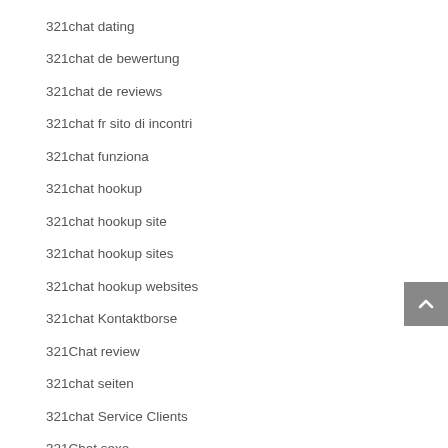321chat dating
321chat de bewertung
321chat de reviews
321chat fr sito di incontri
321chat funziona
321chat hookup
321chat hookup site
321chat hookup sites
321chat hookup websites
321chat Kontaktborse
321Chat review
321chat seiten
321chat Service Clients
321Chat sexo
321Chat visitors